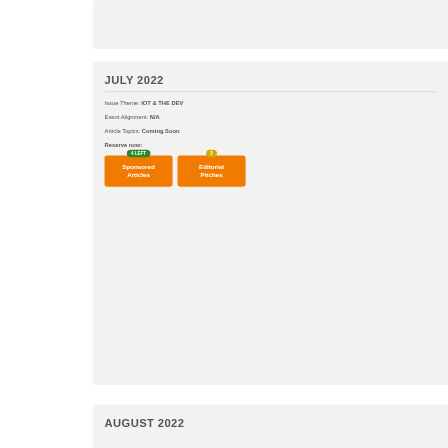JULY 2022
Issue Theme: IOT & THE DEV
Event Alignment: N/A
Article Topics: Coming Soon
Reserve now:
Sponsored Articles (4 LEFT)
Editorial Pitches (2 LEFT)
AUGUST 2022